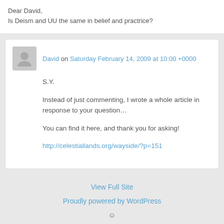Dear David,
Is Deism and UU the same in belief and practrice?
David on Saturday February 14, 2009 at 10:00 +0000
S.Y.
Instead of just commenting, I wrote a whole article in response to your question…
You can find it here, and thank you for asking!
http://celestiallands.org/wayside/?p=151
View Full Site
Proudly powered by WordPress